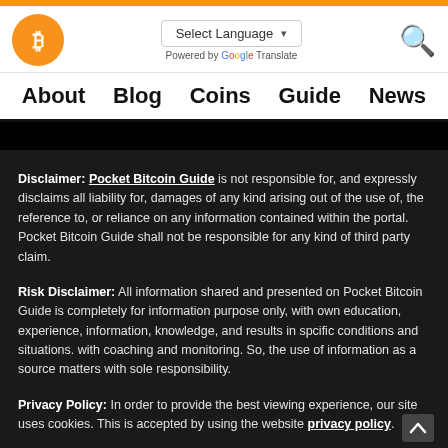Pocket Bitcoin Guide — navigation header with logo, language selector, and search icon
About   Blog   Coins   Guide   News
Disclaimer: Pocket Bitcoin Guide is not responsible for, and expressly disclaims all liability for, damages of any kind arising out of the use of, the reference to, or reliance on any information contained within the portal. Pocket Bitcoin Guide shall not be responsible for any kind of third party claim.
Risk Disclaimer: All information shared and presented on Pocket Bitcoin Guide is completely for information purpose only, with own education, experience, information, knowledge, and results in spcific conditions and situations. with coaching and monitoring. So, the use of information as a source matters with sole responsibility.
Privacy Policy: In order to provide the best viewing experience, our site uses cookies. This is accepted by using the website privacy policy.